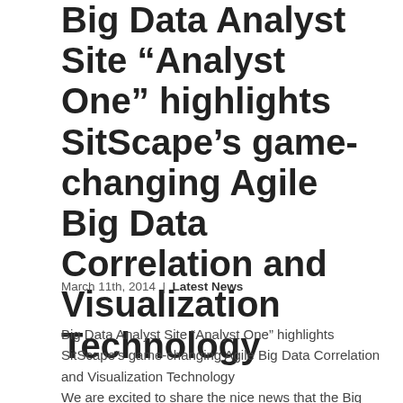Big Data Analyst Site “Analyst One” highlights SitScape’s game-changing Agile Big Data Correlation and Visualization Technology
March 11th, 2014  |  Latest News
Big Data Analyst Site “Analyst One” highlights SitScape’s game-changing Agile Big Data Correlation and Visualization Technology
We are excited to share the nice news that the Big Data Analyst Site “Analyst One / CTO Vision” just highlighted